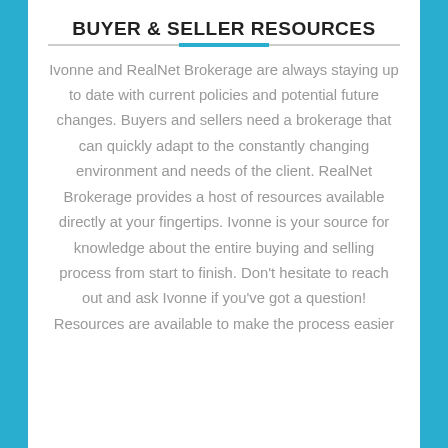BUYER & SELLER RESOURCES
Ivonne and RealNet Brokerage are always staying up to date with current policies and potential future changes. Buyers and sellers need a brokerage that can quickly adapt to the constantly changing environment and needs of the client. RealNet Brokerage provides a host of resources available directly at your fingertips. Ivonne is your source for knowledge about the entire buying and selling process from start to finish. Don't hesitate to reach out and ask Ivonne if you've got a question! Resources are available to make the process easier